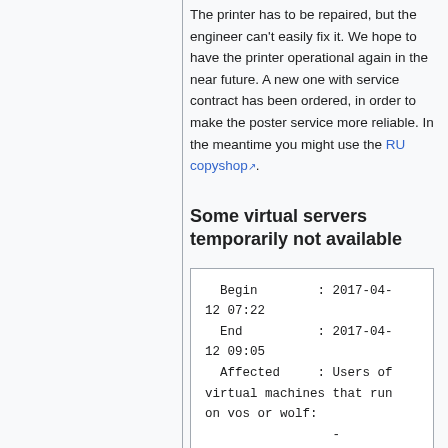The printer has to be repaired, but the engineer can't easily fix it. We hope to have the printer operational again in the near future. A new one with service contract has been ordered, in order to make the poster service more reliable. In the meantime you might use the RU copyshop.
Some virtual servers temporarily not available
Begin        : 2017-04-12 07:22
  End          : 2017-04-12 09:05
  Affected     : Users of virtual machines that run on vos or wolf:
                 -